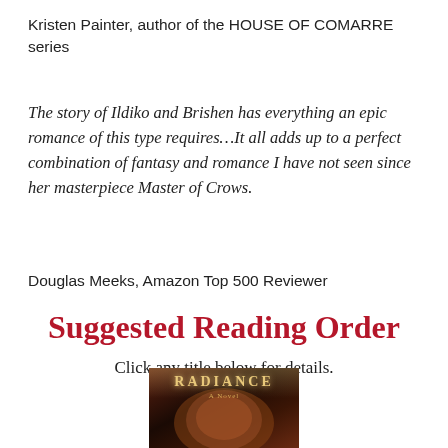Kristen Painter, author of the HOUSE OF COMARRE series
The story of Ildiko and Brishen has everything an epic romance of this type requires…It all adds up to a perfect combination of fantasy and romance I have not seen since her masterpiece Master of Crows.
Douglas Meeks, Amazon Top 500 Reviewer
Suggested Reading Order
Click any title below for details.
[Figure (photo): Book cover for 'Radiance: A Novel' with dark brown tones and gold lettering]